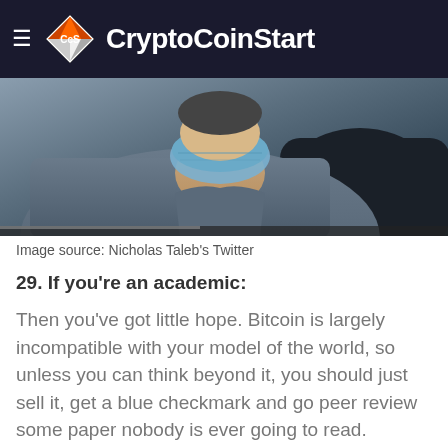CryptoCoinStart
[Figure (photo): Close-up photo of a person wearing a blue face mask, showing neck and collar area, dark background]
Image source: Nicholas Taleb's Twitter
29. If you're an academic:
Then you've got little hope. Bitcoin is largely incompatible with your model of the world, so unless you can think beyond it, you should just sell it, get a blue checkmark and go peer review some paper nobody is ever going to read.